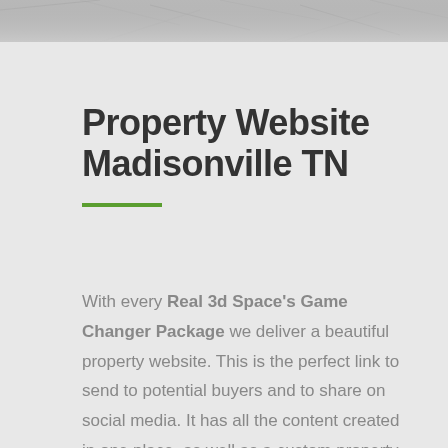[Figure (photo): Decorative header image with a gray textured background pattern]
Property Website Madisonville TN
With every Real 3d Space's Game Changer Package we deliver a beautiful property website. This is the perfect link to send to potential buyers and to share on social media. It has all the content created in one place, as well as a custom property description, agent